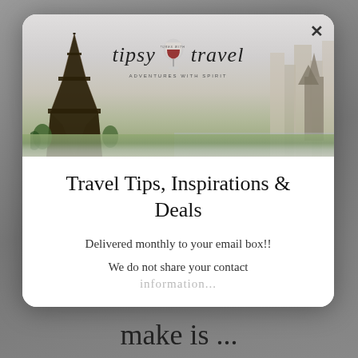[Figure (screenshot): Modal popup dialog with Tipsy Travel banner image showing Eiffel Tower, city skyline, and logo with wine glass. Below are title and text content.]
Travel Tips, Inspirations & Deals
Delivered monthly to your email box!!
We do not share your contact information...
make is ...